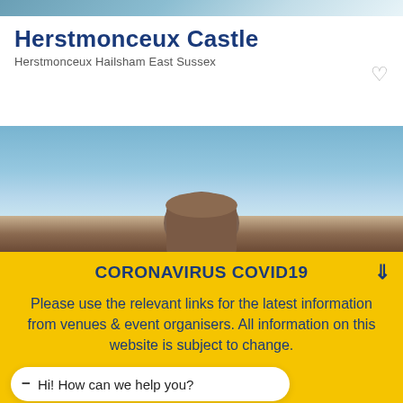[Figure (photo): Top banner photo of Herstmonceux Castle, partially cropped]
Herstmonceux Castle
Herstmonceux Hailsham East Sussex
[Figure (photo): Landscape photo showing blue sky with clouds and partial view of Herstmonceux Castle]
CORONAVIRUS COVID19
Please use the relevant links for the latest information from venues & event organisers. All information on this website is subject to change.
Hi! How can we help you?